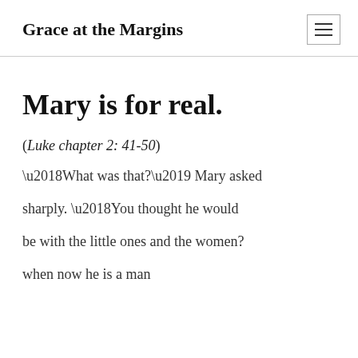Grace at the Margins
Mary is for real.
(Luke chapter 2: 41-50)
‘What was that?’ Mary asked
sharply. ‘You thought he would
be with the little ones and the women?
when now he is a man